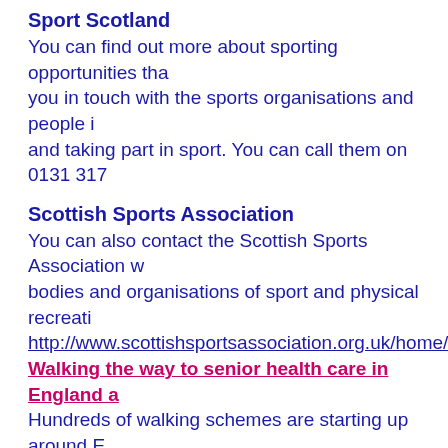Sport Scotland
You can find out more about sporting opportunities that you in touch with the sports organisations and people i and taking part in sport. You can call them on 0131 317
Scottish Sports Association
You can also contact the Scottish Sports Association w bodies and organisations of sport and physical recreati
http://www.scottishsportsassociation.org.uk/home/index
Walking the way to senior health care in England a
Hundreds of walking schemes are starting up around E produce information on interesting places to walk. Enth trained as volunteer leaders. Walking is ideal for everyo healthy way to get to places.
Case study:
After developing arthritis in her right hip, retired midwife Sep'.Since the operation she has literally walked her w sticks and now, without. Her progress has been remark Dorothy, 68, comments: "Before having the operation I determined to regain my health as soon as possible. I f building up the muscles that hadn't been used due to th myself.